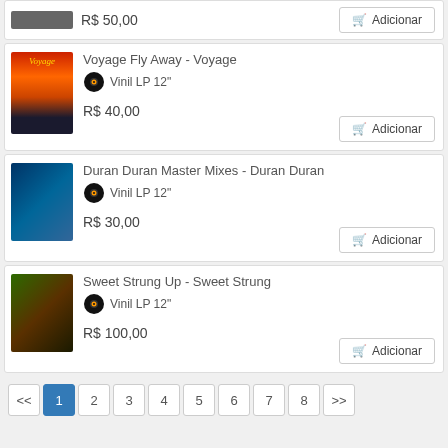R$ 50,00 — Adicionar (partial top card)
Voyage Fly Away - Voyage, Vinil LP 12", R$ 40,00
Duran Duran Master Mixes - Duran Duran, Vinil LP 12", R$ 30,00
Sweet Strung Up - Sweet Strung, Vinil LP 12", R$ 100,00
<< 1 2 3 4 5 6 7 8 >>